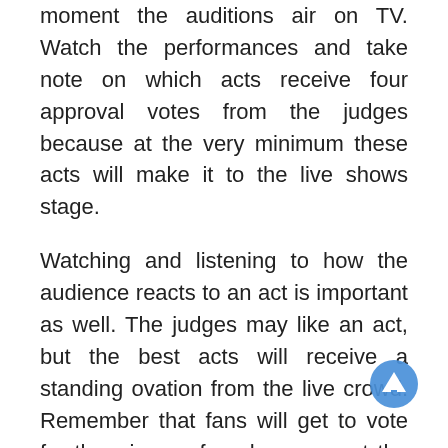moment the auditions air on TV. Watch the performances and take note on which acts receive four approval votes from the judges because at the very minimum these acts will make it to the live shows stage.
Watching and listening to how the audience reacts to an act is important as well. The judges may like an act, but the best acts will receive a standing ovation from the live crowd. Remember that fans will get to vote for the winner of each season at the finale.
I advise against betting too early on AGT, as you want to see the top performers a few times during the auditions stage before you bet on them. While an act may receive huge praise initially if they don't switch up or improve their act it can become